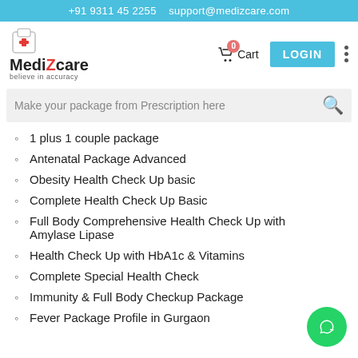+91 9311 45 2255  support@medizcare.com
[Figure (logo): MediZcare logo with medical cross icon and tagline 'believe in accuracy']
Cart 0  LOGIN
Make your package from Prescription here
1 plus 1 couple package
Antenatal Package Advanced
Obesity Health Check Up basic
Complete Health Check Up Basic
Full Body Comprehensive Health Check Up with Amylase Lipase
Health Check Up with HbA1c & Vitamins
Complete Special Health Check
Immunity & Full Body Checkup Package
Fever Package Profile in Gurgaon